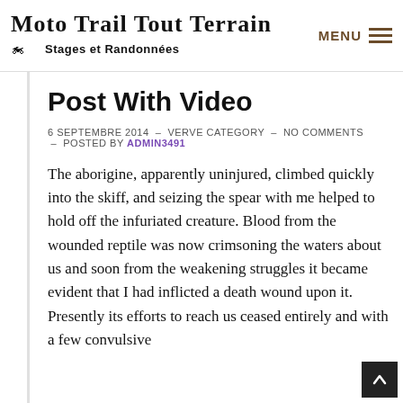Moto Trail Tout Terrain – Stages et Randonnées | MENU
Post With Video
6 SEPTEMBRE 2014  –  VERVE CATEGORY  –  NO COMMENTS  –  POSTED BY ADMIN3491
The aborigine, apparently uninjured, climbed quickly into the skiff, and seizing the spear with me helped to hold off the infuriated creature. Blood from the wounded reptile was now crimsoning the waters about us and soon from the weakening struggles it became evident that I had inflicted a death wound upon it. Presently its efforts to reach us ceased entirely and with a few convulsive